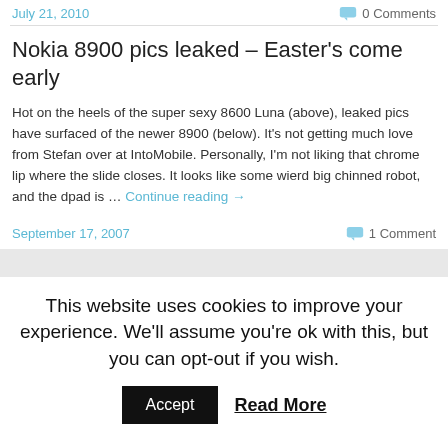July 21, 2010
0 Comments
Nokia 8900 pics leaked – Easter's come early
Hot on the heels of the super sexy 8600 Luna (above), leaked pics have surfaced of the newer 8900 (below). It's not getting much love from Stefan over at IntoMobile. Personally, I'm not liking that chrome lip where the slide closes. It looks like some wierd big chinned robot, and the dpad is … Continue reading →
September 17, 2007
1 Comment
This website uses cookies to improve your experience. We'll assume you're ok with this, but you can opt-out if you wish.
Accept
Read More